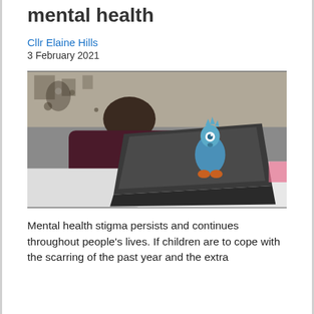mental health
Cllr Elaine Hills
3 February 2021
[Figure (photo): A person lying on a bed using a laptop computer. The back of the laptop is visible with a cartoon character sticker on it. A decorative tapestry is visible in the background.]
Mental health stigma persists and continues throughout people's lives. If children are to cope with the scarring of the past year and the extra